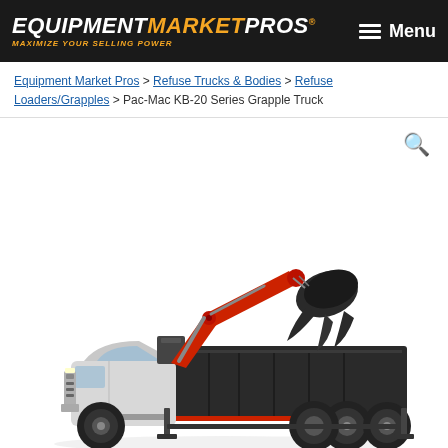EQUIPMENT MARKET PROS — MAXIMIZE YOUR SELLING POWER | Menu
Equipment Market Pros > Refuse Trucks & Bodies > Refuse Loaders/Grapples > Pac-Mac KB-20 Series Grapple Truck
[Figure (photo): Photo of a Pac-Mac KB-20 Series Grapple Truck — a white cab-over truck with a red hydraulic crane arm and a large black grapple bucket attachment, mounted on a black flatbed body with rear stabilizer legs.]